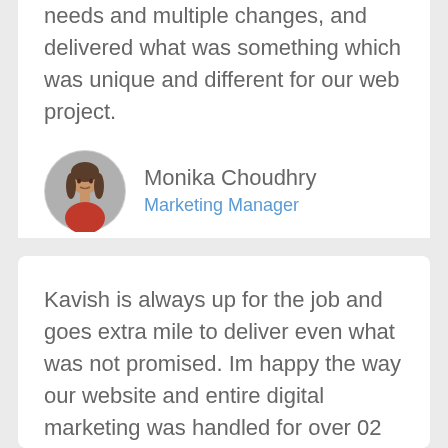needs and multiple changes, and delivered what was something which was unique and different for our web project.
Monika Choudhry
Marketing Manager
Kavish is always up for the job and goes extra mile to deliver even what was not promised. Im happy the way our website and entire digital marketing was handled for over 02 years. oxolloxo.com
[Figure (illustration): Circular avatar of a woman with dark hair, wearing a red top, on a grey background]
[Figure (photo): Partial circular avatar with green tones visible at the bottom of the page]